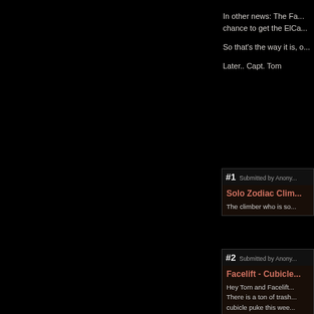In other news:  The Fa... chance to get the ElCa...
So that's the way it is, o...
Later.. Capt. Tom
#1   Submitted by Anony...
Solo Zodiac Clim...
The climber who is so...
#2   Submitted by Anony...
Facelift - Cubicle...
Hey Tom and Facelift... There is a ton of trash... cubicle puke this wee...